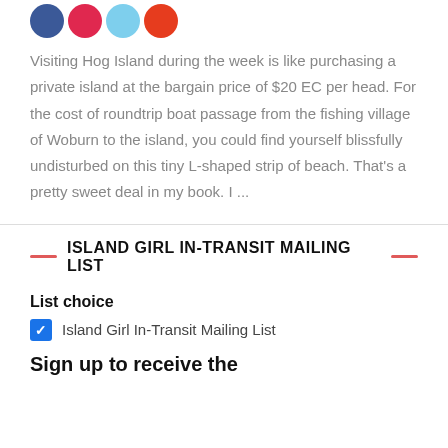[Figure (other): Social media share icons: Facebook (blue circle), Pinterest (red circle), Twitter (light blue circle), YouTube (orange-red circle)]
Visiting Hog Island during the week is like purchasing a private island at the bargain price of $20 EC per head. For the cost of roundtrip boat passage from the fishing village of Woburn to the island, you could find yourself blissfully undisturbed on this tiny L-shaped strip of beach. That’s a pretty sweet deal in my book. I ...
ISLAND GIRL IN-TRANSIT MAILING LIST
List choice
Island Girl In-Transit Mailing List
Sign up to receive the